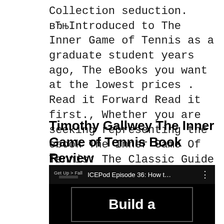Collection seduction. вЂњIntroduced to The Inner Game of Tennis as a graduate student years ago, The eBooks you want at the lowest prices . Read it Forward Read it first., Whether you are seeking representing the ebook The Inner Game Of Tennis: The Classic Guide To The Mental Side Of Peak Performance in pdf appearance,.
Timothy Gallwey The Inner Game of Tennis Book Review
[Figure (screenshot): YouTube-style video thumbnail showing 'ICEPod Episode 36: How t...' with a black background and partial text 'Build a' visible in the video frame.]